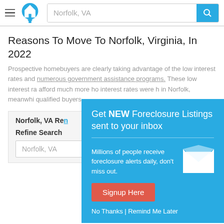Norfolk, VA [search bar with logo]
Reasons To Move To Norfolk, Virginia, In 2022
Prospective homebuyers are clearly taking advantage of the low interest rates and numerous government assistance programs. These low interest rates afford much more home interest rates were higher in Norfolk, meanwhile qualified buyers.
| Norfolk, VA Ren |
| Refine Search |
| Norfolk, VA |
[Figure (infographic): Popup overlay on a teal/cyan background with title 'Get NEW Foreclosure Listings sent to your inbox', description text 'Millions of people receive foreclosure alerts daily, don't miss out.', a white envelope icon, a red 'Signup Here' button, and 'No Thanks | Remind Me Later' link text.]